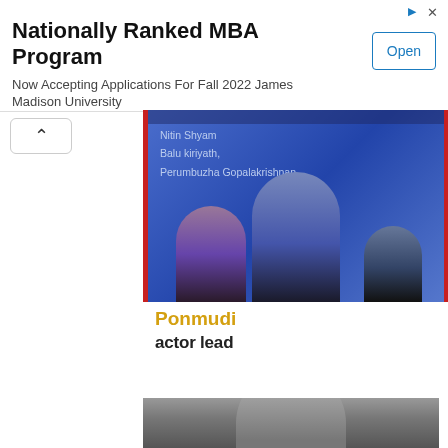[Figure (screenshot): Ad banner: Nationally Ranked MBA Program, Now Accepting Applications For Fall 2022 James Madison University, with Open button]
[Figure (photo): Movie poster for Ponmudi showing three actors against a blue background with text: Nitin Shyam, Balu kiriyath, Perumbuzha Gopalakrishnan]
Ponmudi
actor lead
[Figure (photo): Partial movie image showing a woman's face in grayscale/sepia tone]